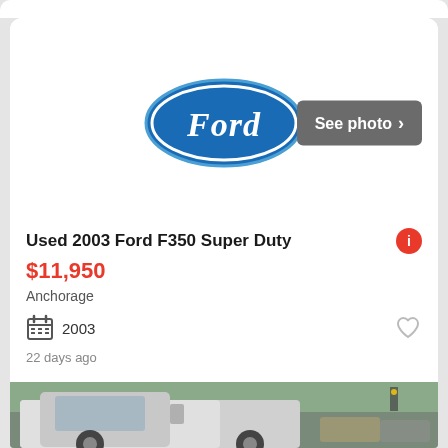[Figure (logo): Ford oval blue logo]
See photo >
Used 2003 Ford F350 Super Duty
$11,950
Anchorage
2003
22 days ago
[Figure (photo): White Ford F350 Super Duty truck in a parking lot]